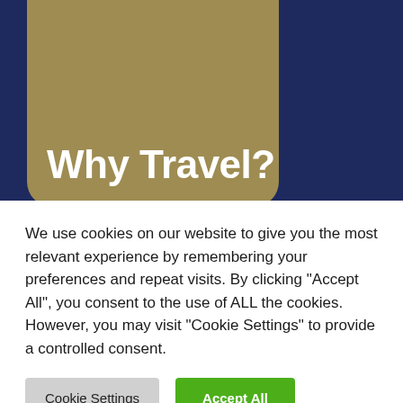Why Travel?
Home   About the Project   About Us   T
Why Travel? Book Published
Travel jacke records
[Figure (illustration): Partial view of a book cover image]
We use cookies on our website to give you the most relevant experience by remembering your preferences and repeat visits. By clicking "Accept All", you consent to the use of ALL the cookies. However, you may visit "Cookie Settings" to provide a controlled consent.
Cookie Settings   Accept All